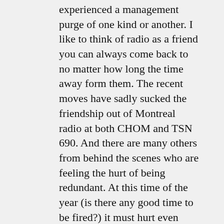experienced a management purge of one kind or another. I like to think of radio as a friend you can always come back to no matter how long the time away form them. The recent moves have sadly sucked the friendship out of Montreal radio at both CHOM and TSN 690. And there are many others from behind the scenes who are feeling the hurt of being redundant. At this time of the year (is there any good time to be fired?) it must hurt even more.